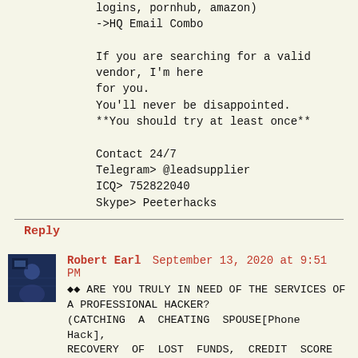logins, pornhub, amazon)
->HQ Email Combo

If you are searching for a valid vendor, I'm here for you.
You'll never be disappointed.
**You should try at least once**

Contact 24/7
Telegram> @leadsupplier
ICQ> 752822040
Skype> Peeterhacks
Reply
Robert Earl  September 13, 2020 at 9:51 PM
🔴🔴 ARE YOU TRULY IN NEED OF THE SERVICES OF A PROFESSIONAL HACKER?
(CATCHING A CHEATING SPOUSE[Phone Hack], RECOVERY OF LOST FUNDS, CREDIT SCORE